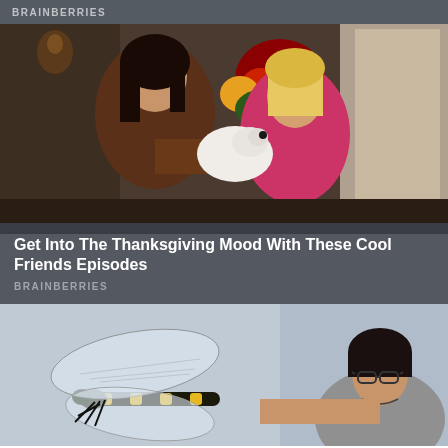BRAINBERRIES
[Figure (photo): Two women from the TV show Friends, one with dark hair in a brown sweater and one blonde in a pink top, holding a small white dog, with flowers in the background.]
Get Into The Thanksgiving Mood With These Cool Friends Episodes
BRAINBERRIES
[Figure (photo): A large dragonfly model or taxidermy held by a person with short dark hair and glasses wearing a gray shirt, against a light blue background.]